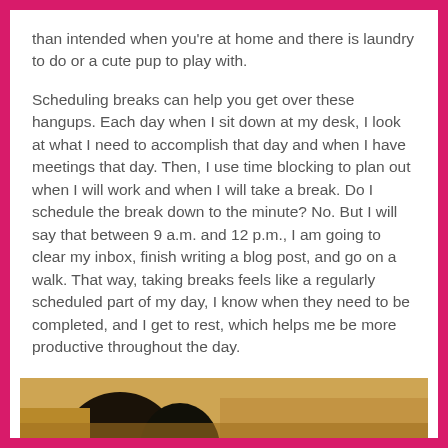than intended when you're at home and there is laundry to do or a cute pup to play with.
Scheduling breaks can help you get over these hangups. Each day when I sit down at my desk, I look at what I need to accomplish that day and when I have meetings that day. Then, I use time blocking to plan out when I will work and when I will take a break. Do I schedule the break down to the minute? No. But I will say that between 9 a.m. and 12 p.m., I am going to clear my inbox, finish writing a blog post, and go on a walk. That way, taking breaks feels like a regularly scheduled part of my day, I know when they need to be completed, and I get to rest, which helps me be more productive throughout the day.
[Figure (photo): Partial image visible at the bottom of the page, appears to show a dark figure against a yellow/golden background]